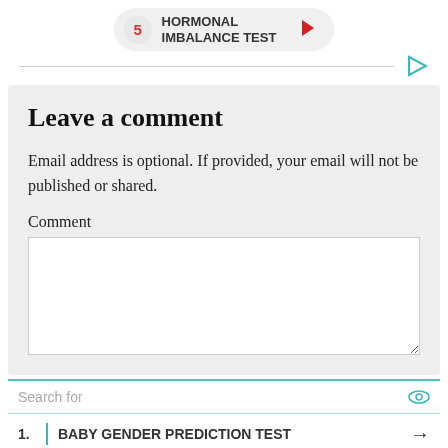[Figure (infographic): Navigation pill showing item 5: HORMONAL IMBALANCE TEST with a red right-arrow button]
Leave a comment
Email address is optional. If provided, your email will not be published or shared.
Comment
[Figure (screenshot): Empty comment text area input box]
[Figure (infographic): Ad search block with search bar, two items: 1. BABY GENDER PREDICTION TEST, 2. HORMONE BALANCE TESTS, and footer: Ad | Cellphone Guru]